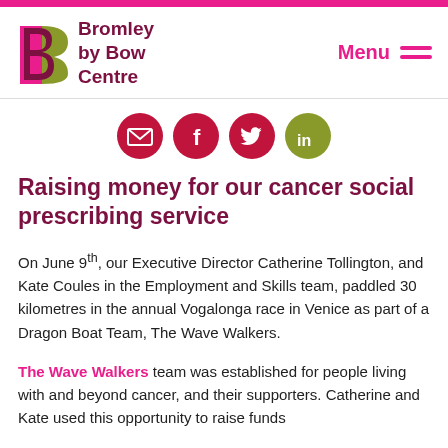[Figure (logo): Bromley by Bow Centre logo with stylized B and text]
[Figure (infographic): Social media share icons: email, Facebook, Twitter, LinkedIn]
Raising money for our cancer social prescribing service
On June 9th, our Executive Director Catherine Tollington, and Kate Coules in the Employment and Skills team, paddled 30 kilometres in the annual Vogalonga race in Venice as part of a Dragon Boat Team, The Wave Walkers.
The Wave Walkers team was established for people living with and beyond cancer, and their supporters. Catherine and Kate used this opportunity to raise funds